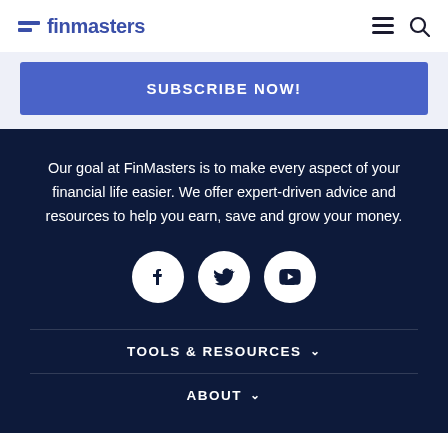finmasters
SUBSCRIBE NOW!
Our goal at FinMasters is to make every aspect of your financial life easier. We offer expert-driven advice and resources to help you earn, save and grow your money.
[Figure (infographic): Three social media icons in white circles on dark navy background: Facebook (f), Twitter (bird), YouTube (play button)]
TOOLS & RESOURCES
ABOUT